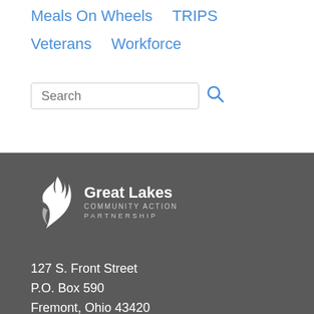Meals On Wheels
TRIPS
Veterans
Workforce
Search
[Figure (logo): Great Lakes Community Action Partnership white logo with flame/wave icon on dark grey background]
127 S. Front Street
P.O. Box 590
Fremont, Ohio 43420